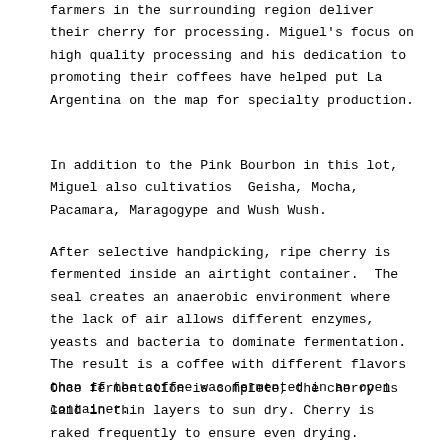farmers in the surrounding region deliver their cherry for processing. Miguel's focus on high quality processing and his dedication to promoting their coffees have helped put La Argentina on the map for specialty production.
In addition to the Pink Bourbon in this lot, Miguel also cultivatios  Geisha, Mocha, Pacamara, Maragogype and Wush Wush.
After selective handpicking, ripe cherry is fermented inside an airtight container.  The seal creates an anaerobic environment where the lack of air allows different enzymes, yeasts and bacteria to dominate fermentation. The result is a coffee with different flavors than if the coffee was fermented in an open container.
Once fermentation is complete, the cherry is laid in thin layers to sun dry. Cherry is raked frequently to ensure even drying.
Colombia has been producing and exporting coffee renowned for their full body, bright acidity and rich aftertaste, since the